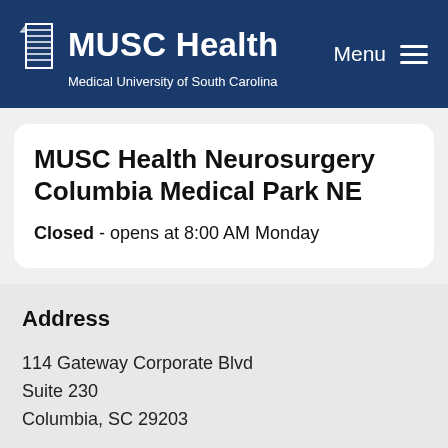MUSC Health Medical University of South Carolina | Menu
MUSC Health Neurosurgery Columbia Medical Park NE
Closed - opens at 8:00 AM Monday
Address
114 Gateway Corporate Blvd
Suite 230
Columbia, SC 29203
Get Directions >